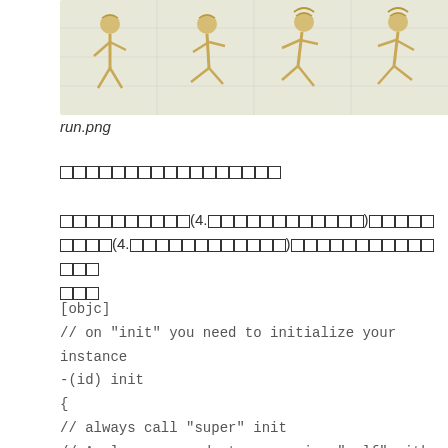[Figure (illustration): Sprite sheet showing a character in four running animation frames on a grid background]
run.png
□□□□□□□□□□□□□□□□□
□□□□□□□□□□(4.□□□□□□□□□□□□)□□□□□□□□□(4.□□□□□□□□□□□□)□□□□□□□□□□□□□□□
[objc]
// on "init" you need to initialize your instance
-(id) init
{
// always call "super" init
// Apple recommends to re-assign "self" with the "super's" return value
if( (self=[super init]) ) {
// Sprite□□□